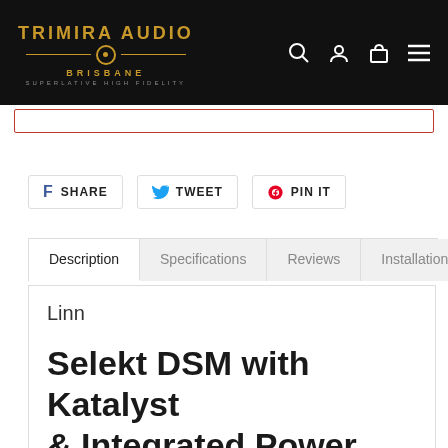[Figure (logo): Trimira Audio Brisbane logo with gold text and circular emblem on black background]
SHARE   TWEET   PIN IT
Description   Specifications   Reviews   Installation
Linn
Selekt DSM with Katalyst & Integrated Power Amps